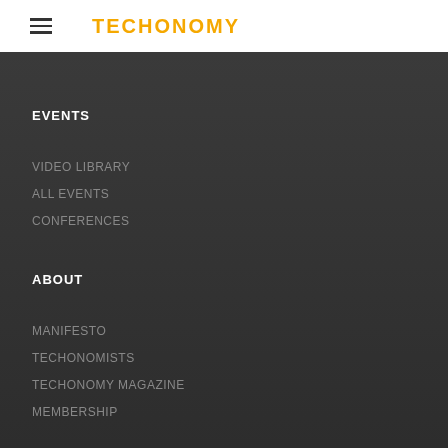TECHONOMY
EVENTS
VIDEO LIBRARY
ALL EVENTS
CONFERENCES
ABOUT
MANIFESTO
TECHONOMISTS
TECHONOMY MAGAZINE
MEMBERSHIP
CONTACT